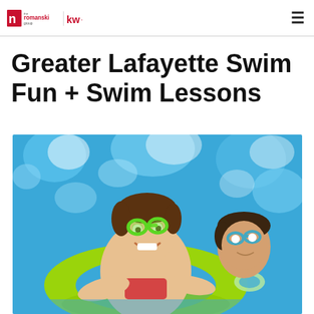the romanski group | kw.
Greater Lafayette Swim Fun + Swim Lessons
[Figure (photo): Two children smiling in a swimming pool, one wearing green swim goggles resting on a bright yellow-green inflatable ring float, with bright blue water in the background]